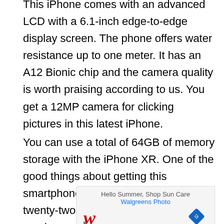This iPhone comes with an advanced LCD with a 6.1-inch edge-to-edge display screen. The phone offers water resistance up to one meter. It has an A12 Bionic chip and the camera quality is worth praising according to us. You get a 12MP camera for clicking pictures in this latest iPhone.
You can use a total of 64GB of memory storage with the iPhone XR. One of the good things about getting this smartphone is that you get talk time of twenty-two hours free with its purchase.
[Figure (other): Walgreens advertisement banner: Hello Summer, Shop Sun Care. Walgreens Photo. Shows Walgreens red script W logo and a blue diamond navigation icon.]